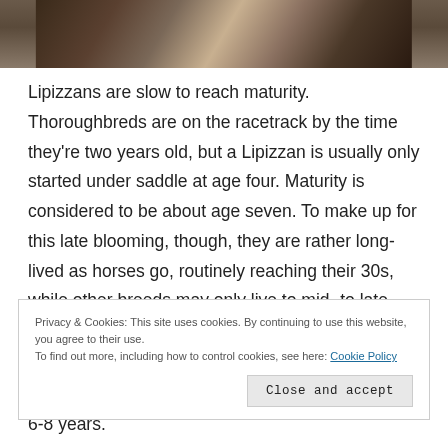[Figure (photo): Partial photo of bookshelves or similar interior scene, cropped at top]
Lipizzans are slow to reach maturity. Thoroughbreds are on the racetrack by the time they’re two years old, but a Lipizzan is usually only started under saddle at age four. Maturity is considered to be about age seven. To make up for this late blooming, though, they are rather long-lived as horses go, routinely reaching their 30s, while other breeds may only live to mid- to late 20s. At the age where other horses might be
Privacy & Cookies: This site uses cookies. By continuing to use this website, you agree to their use.
To find out more, including how to control cookies, see here: Cookie Policy
6-8 years.